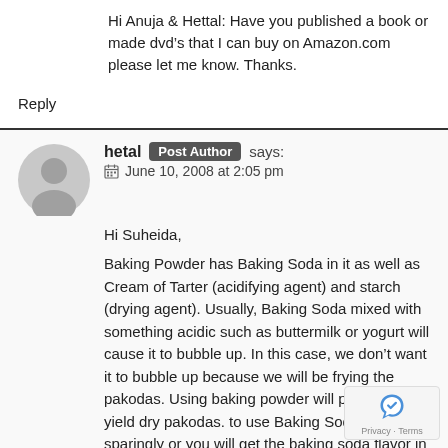Hi Anuja & Hettal: Have you published a book or made dvd’s that I can buy on Amazon.com please let me know. Thanks.
Reply
hetal Post Author says:
June 10, 2008 at 2:05 pm
Hi Suheida,

Baking Powder has Baking Soda in it as well as Cream of Tarter (acidifying agent) and starch (drying agent). Usually, Baking Soda mixed with something acidic such as buttermilk or yogurt will cause it to bubble up. In this case, we don’t want it to bubble up because we will be frying the pakodas. Using baking powder will probably yield dry pakodas. to use Baking Soda very sparingly or you will get the baking soda flavor in your food.